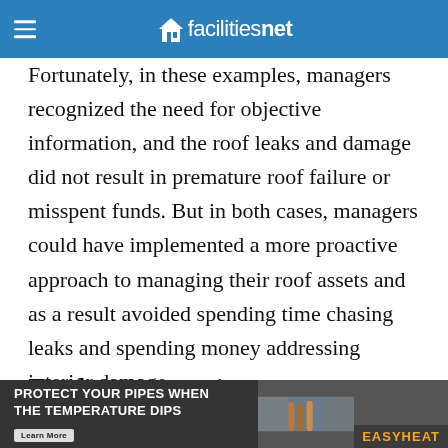facilitiesnet
Fortunately, in these examples, managers recognized the need for objective information, and the roof leaks and damage did not result in premature roof failure or misspent funds. But in both cases, managers could have implemented a more proactive approach to managing their roof assets and as a result avoided spending time chasing leaks and spending money addressing interior damage.
Evaluating options
Before evaluating potential roofing options and
[Figure (other): Advertisement banner for EasyHeat pipe protection product: 'PROTECT YOUR PIPES WHEN THE TEMPERATURE DIPS' with a 'Learn More' button and EasyHeat logo on a dark background with product imagery.]